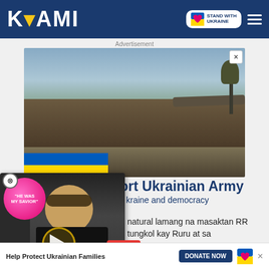KAMI — Stand With Ukraine navigation bar
Advertisement
[Figure (photo): Military soldiers standing on top of a tank in a war zone, with a Ukrainian flag strip overlaid at the bottom left of the image.]
Support Ukrainian Army
... kraine and democracy
[Figure (other): Video widget overlay showing a celebrity photo with a pink speech bubble saying 'HE WAS MY SAVIOR' and a play button.]
natural lamang na masaktan RR tungkol kay Ruru at sa
Help Protect Ukrainian Families — DONATE NOW